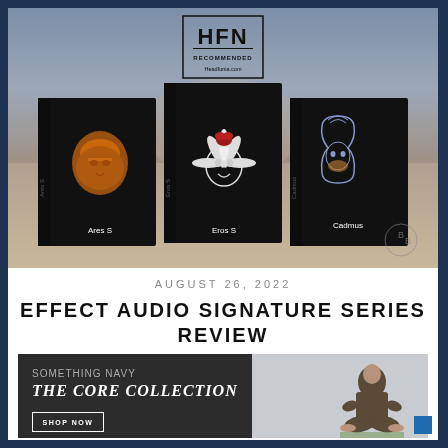[Figure (photo): Three black product boxes labeled Ares S, Eros S, and Cadmus arranged on a sandy surface. Each box features a distinctive artistic emblem. HFN Recommended badge visible at top center with headfonia.com text.]
AUGUST 26, 2022
EFFECT AUDIO SIGNATURE SERIES REVIEW
[Figure (infographic): Advertisement banner: Something Navy - The Core Collection with Shop Now button. Right side shows a person sitting cross-legged wearing olive/khaki outfit.]